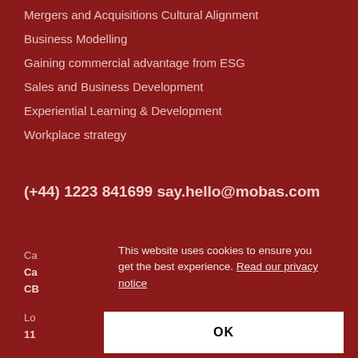Mergers and Acquisitions Cultural Alignment
Business Modelling
Gaining commercial advantage from ESG
Sales and Business Development
Experiential Learning & Development
Workplace strategy
(+44) 1223 841699 say.hello@mobas.com
Ca
Ca
CB
Lo
11
This website uses cookies to ensure you get the best experience. Read our privacy notice
OK